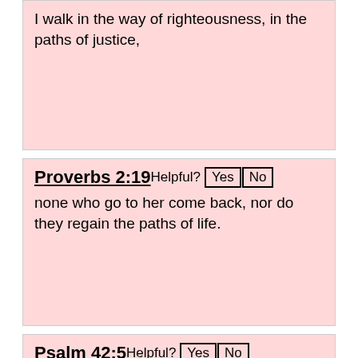I walk in the way of righteousness, in the paths of justice,
Proverbs 2:19
none who go to her come back, nor do they regain the paths of life.
Psalm 42:5
Why are you cast down, O my soul, and